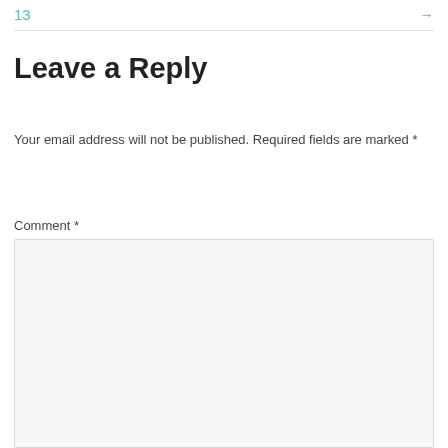13  →
Leave a Reply
Your email address will not be published. Required fields are marked *
Comment *